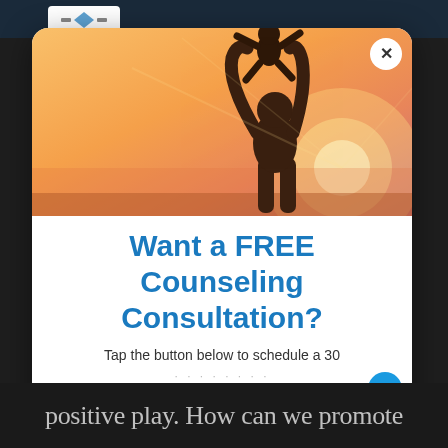[Figure (photo): Silhouette of a parent lifting a child up in the air against a warm sunset sky background]
Want a FREE Counseling Consultation?
Tap the button below to schedule a 30
positive play. How can we promote